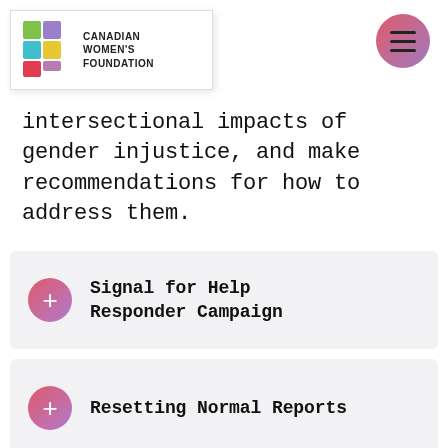[Figure (logo): Canadian Women's Foundation logo with colorful puzzle-piece shapes and text 'CANADIAN WOMEN'S FOUNDATION']
[Figure (other): Hamburger menu button - circular gradient button with three horizontal lines]
intersectional impacts of gender injustice, and make recommendations for how to address them.
Signal for Help Responder Campaign
Resetting Normal Reports